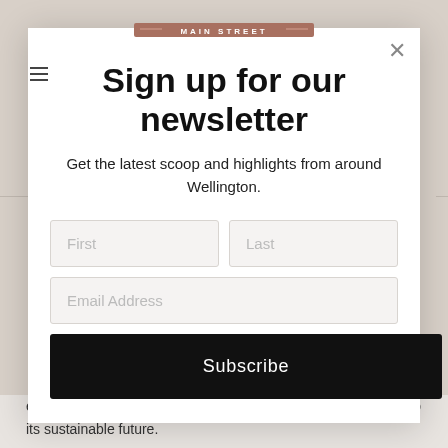[Figure (logo): Main Street logo banner with decorative lines on either side, mauve/brownish-pink background with white text]
Sign up for our newsletter
Get the latest scoop and highlights from around Wellington.
[Figure (other): Form with First name, Last name, and Email Address input fields, and a Subscribe button]
enjoy all that our fine village has to offer and want to help see to its sustainable future.